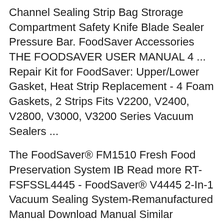Channel Sealing Strip Bag Strorage Compartment Safety Knife Blade Sealer Pressure Bar. FoodSaver Accessories THE FOODSAVER USER MANUAL 4 ... Repair Kit for FoodSaver: Upper/Lower Gasket, Heat Strip Replacement - 4 Foam Gaskets, 2 Strips Fits V2200, V2400, V2800, V3000, V3200 Series Vacuum Sealers ...
The FoodSaver® FM1510 Fresh Food Preservation System IB Read more RT-FSFSSL4445 - FoodSaver® V4445 2-In-1 Vacuum Sealing System-Remanufactured Manual Download Manual Similar Manuals; FM5460-DTC - FoodSaver® FM5460 Vacuum Sealer Download Manual Similar Manuals